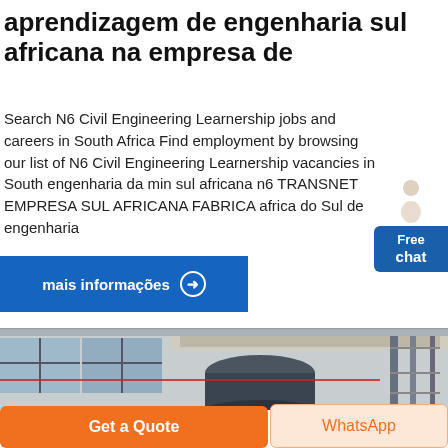aprendizagem de engenharia sul africana na empresa de
Search N6 Civil Engineering Learnership jobs and careers in South Africa Find employment by browsing our list of N6 Civil Engineering Learnership vacancies in South engenharia da min sul africana n6 TRANSNET EMPRESA SUL AFRICANA FABRICA africa do Sul de engenharia
mais informações →
[Figure (photo): Industrial interior photo showing a large cylindrical structure, high ceiling with metal framework, large windows, and overhead banners in an engineering facility.]
Get a Quote
WhatsApp